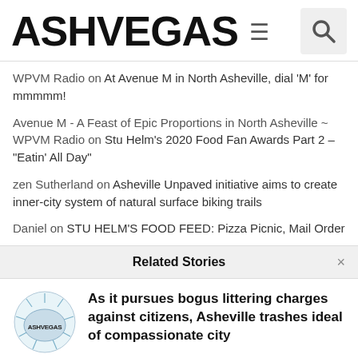ASHVEGAS
WPVM Radio on At Avenue M in North Asheville, dial ‘M’ for mmmmm!
Avenue M - A Feast of Epic Proportions in North Asheville ~ WPVM Radio on Stu Helm’s 2020 Food Fan Awards Part 2 – “Eatin’ All Day”
zen Sutherland on Asheville Unpaved initiative aims to create inner-city system of natural surface biking trails
Daniel on STU HELM’S FOOD FEED: Pizza Picnic, Mail Order
Related Stories
As it pursues bogus littering charges against citizens, Asheville trashes ideal of compassionate city